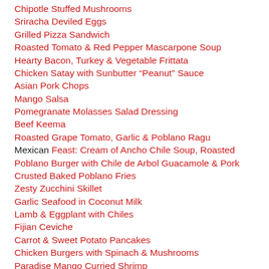Chipotle Stuffed Mushrooms
Sriracha Deviled Eggs
Grilled Pizza Sandwich
Roasted Tomato & Red Pepper Mascarpone Soup
Hearty Bacon, Turkey & Vegetable Frittata
Chicken Satay with Sunbutter “Peanut” Sauce
Asian Pork Chops
Mango Salsa
Pomegranate Molasses Salad Dressing
Beef Keema
Roasted Grape Tomato, Garlic & Poblano Ragu
Mexican Feast: Cream of Ancho Chile Soup, Roasted Poblano Burger with Chile de Arbol Guacamole & Pork Crusted Baked Poblano Fries
Zesty Zucchini Skillet
Garlic Seafood in Coconut Milk
Lamb & Eggplant with Chiles
Fijian Ceviche
Carrot & Sweet Potato Pancakes
Chicken Burgers with Spinach & Mushrooms
Paradise Mango Curried Shrimp
Laura Goodenough's Apple Coffee Cake